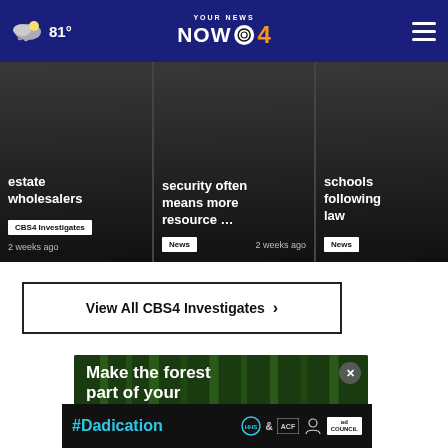YOUR NEWS NOW CBS 4 | 81°
[Figure (screenshot): News card 1: 'estate wholesalers' with CBS4 Investigates tag, 2 weeks ago]
[Figure (screenshot): News card 2: 'security often means more resource...' with News tag, 2 weeks ago]
[Figure (screenshot): News card 3 (partial): 'schools following law' with News tag]
View All CBS4 Investigates ›
[Figure (advertisement): Forest ad: Make the forest part of your story.]
[Figure (advertisement): #Dadication ad banner with ACF and Ad Council logos]